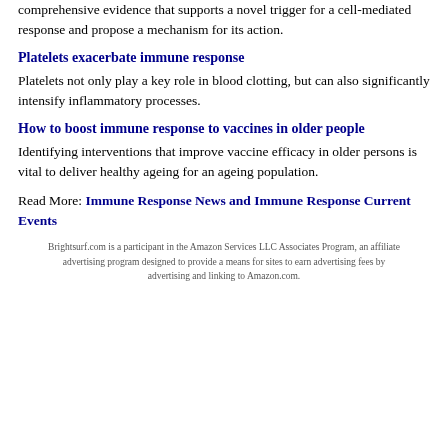comprehensive evidence that supports a novel trigger for a cell-mediated response and propose a mechanism for its action.
Platelets exacerbate immune response
Platelets not only play a key role in blood clotting, but can also significantly intensify inflammatory processes.
How to boost immune response to vaccines in older people
Identifying interventions that improve vaccine efficacy in older persons is vital to deliver healthy ageing for an ageing population.
Read More: Immune Response News and Immune Response Current Events
Brightsurf.com is a participant in the Amazon Services LLC Associates Program, an affiliate advertising program designed to provide a means for sites to earn advertising fees by advertising and linking to Amazon.com.